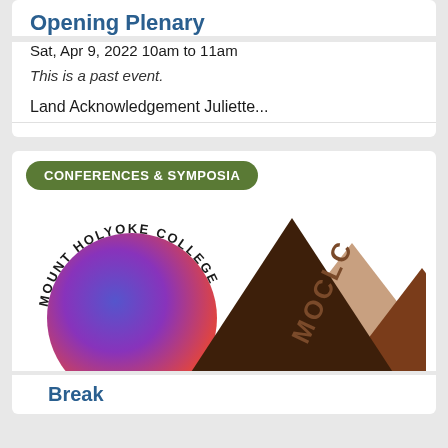Opening Plenary
Sat, Apr 9, 2022 10am to 11am
This is a past event.
Land Acknowledgement Juliette...
[Figure (logo): Mount Holyoke College MOCLC logo with mountain illustration and 'CONFERENCES & SYMPOSIA' badge]
Break